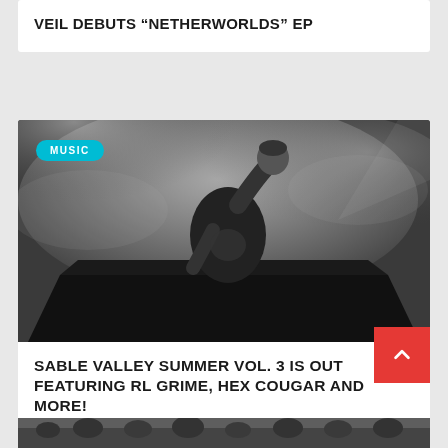VEIL DEBUTS “NETHERWORLDS” EP
[Figure (photo): Black and white concert photo of a DJ/performer on stage with arms raised, atmospheric smoke in background, standing behind a DJ booth/keyboard setup.]
MUSIC
SABLE VALLEY SUMMER VOL. 3 IS OUT FEATURING RL GRIME, HEX COUGAR AND MORE!
[Figure (photo): Partial bottom strip showing a concert or event crowd scene.]